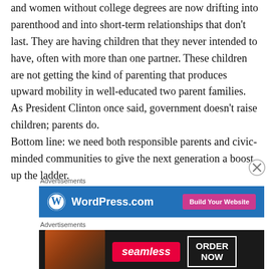and women without college degrees are now drifting into parenthood and into short-term relationships that don't last. They are having children that they never intended to have, often with more than one partner. These children are not getting the kind of parenting that produces upward mobility in well-educated two parent families. As President Clinton once said, government doesn't raise children; parents do.
Bottom line: we need both responsible parents and civic-minded communities to give the next generation a boost up the ladder.
[Figure (other): WordPress.com advertisement banner with blue background, WordPress logo, site name, and pink 'Build Your Website' button]
[Figure (other): Seamless food delivery advertisement with pizza image, red Seamless badge, and 'ORDER NOW' button on dark background]